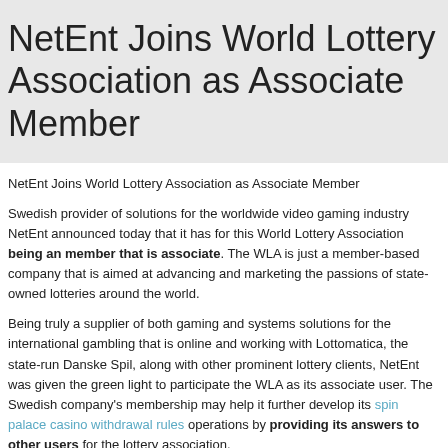NetEnt Joins World Lottery Association as Associate Member
NetEnt Joins World Lottery Association as Associate Member
Swedish provider of solutions for the worldwide video gaming industry NetEnt announced today that it has for this World Lottery Association being an member that is associate. The WLA is just a member-based company that is aimed at advancing and marketing the passions of state-owned lotteries around the world.
Being truly a supplier of both gaming and systems solutions for the international gambling that is online and working with Lottomatica, the state-run Danske Spil, along with other prominent lottery clients, NetEnt was given the green light to participate the WLA as its associate user. The Swedish company's membership may help it further develop its spin palace casino withdrawal rules operations by providing its answers to other users for the lottery association.
Presently, the WLA is using gaming businesses and lotteries that are state